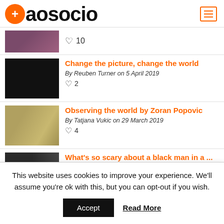aosocio
♡ 10
Change the picture, change the world — By Reuben Turner on 5 April 2019 — ♡ 2
Observing the world by Zoran Popovic — By Tatjana Vukic on 29 March 2019 — ♡ 4
What's so scary about a black man in a ... — By Reuben Turner on 13 February 2019 — ♡ 6
This website uses cookies to improve your experience. We'll assume you're ok with this, but you can opt-out if you wish.
Accept  Read More